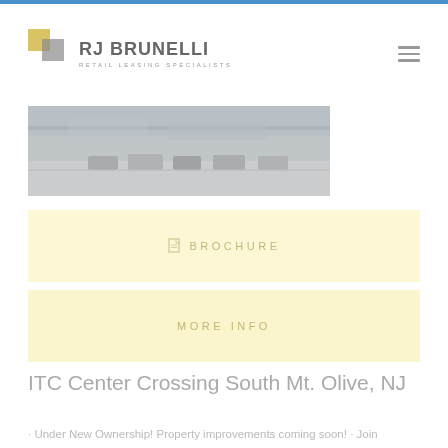[Figure (logo): RJ Brunelli Retail Leasing Specialists logo with yellow/gold square icon and text]
[Figure (photo): Exterior photo of ITC Center Crossing shopping center with parking lot visible]
BROCHURE
MORE INFO
ITC Center Crossing South Mt. Olive, NJ
· Under New Ownership! Property improvements coming soon! · Join Walmart, TJ Maxx, Lowes, Michael's, Bed Bath & Beyond, Old Navy, and others at this well known destination power center. 88% leased to national tenants! · Immediate access to Rt. 80 with a